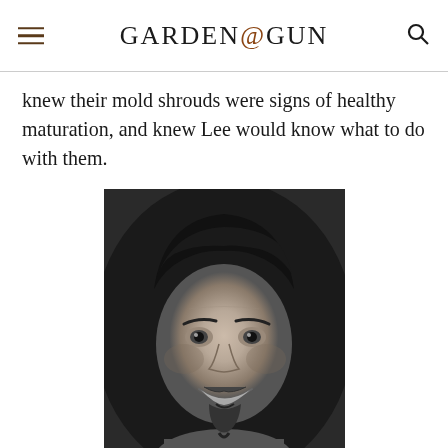GARDEN & GUN
knew their mold shrouds were signs of healthy maturation, and knew Lee would know what to do with them.
[Figure (photo): Black and white portrait photo of a smiling Asian man with dark hair, goatee, and beard, wearing a casual shirt, close-up face shot.]